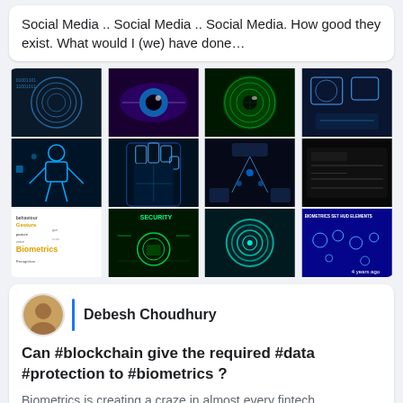Social Media .. Social Media .. Social Media. How good they exist. What would I (we) have done…
[Figure (photo): A 4x3 collage grid of biometrics-themed images including fingerprints, eyes, iris scans, digital hands, DNA strands, body scanning, and biometrics infographics labeled 'Biometrics' and 'BIOMETRICS SET HUD ELEMENTS', with '4 years ago' timestamp on last image.]
Debesh Choudhury
Can #blockchain give the required #data #protection to #biometrics ?
Biometrics is creating a craze in almost every fintech application. The other technology that is…